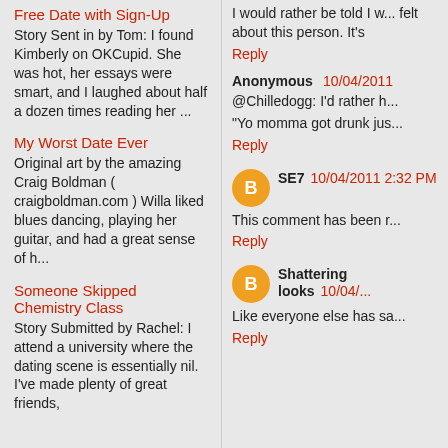Free Date with Sign-Up
Story Sent in by Tom: I found Kimberly on OKCupid. She was hot, her essays were smart, and I laughed about half a dozen times reading her ...
My Worst Date Ever
Original art by the amazing Craig Boldman ( craigboldman.com ) Willa liked blues dancing, playing her guitar, and had a great sense of h...
Someone Skipped Chemistry Class
Story Submitted by Rachel: I attend a university where the dating scene is essentially nil.  I've made plenty of great friends,
I would rather be told I w... felt about this person. It's
Reply
Anonymous  10/04/2011
@Chilledogg: I'd rather h...
"Yo momma got drunk jus...
Reply
SE7  10/04/2011 2:32 PM
This comment has been r...
Reply
Shattering looks  10/04/...
Like everyone else has sa...
Reply